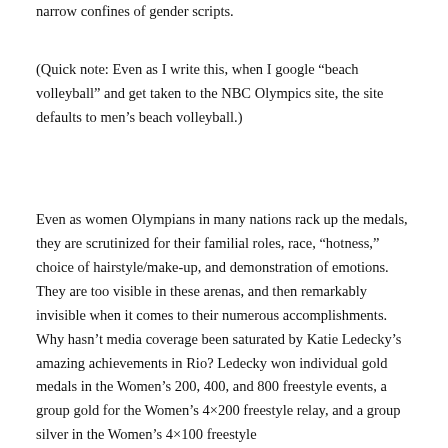narrow confines of gender scripts.
(Quick note: Even as I write this, when I google “beach volleyball” and get taken to the NBC Olympics site, the site defaults to men’s beach volleyball.)
Even as women Olympians in many nations rack up the medals, they are scrutinized for their familial roles, race, “hotness,” choice of hairstyle/make-up, and demonstration of emotions. They are too visible in these arenas, and then remarkably invisible when it comes to their numerous accomplishments. Why hasn’t media coverage been saturated by Katie Ledecky’s amazing achievements in Rio? Ledecky won individual gold medals in the Women’s 200, 400, and 800 freestyle events, a group gold for the Women’s 4×200 freestyle relay, and a group silver in the Women’s 4×100 freestyle